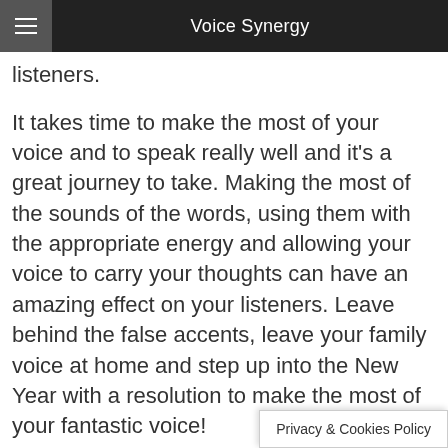Voice Synergy
listeners.
It takes time to make the most of your voice and to speak really well and it's a great journey to take. Making the most of the sounds of the words, using them with the appropriate energy and allowing your voice to carry your thoughts can have an amazing effect on your listeners. Leave behind the false accents, leave your family voice at home and step up into the New Year with a resolution to make the most of your fantastic voice!
For more information about voice training speaking and speaking more clearly, please get in touch.
Privacy & Cookies Policy